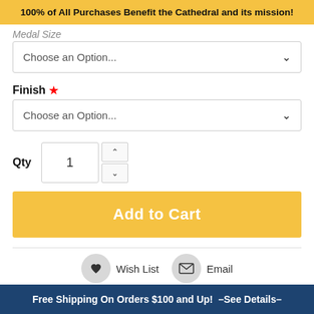100% of All Purchases Benefit the Cathedral and its mission!
Medal Size
Choose an Option...
Finish *
Choose an Option...
Qty 1
Add to Cart
Wish List
Email
Free Shipping On Orders $100 and Up!  –See Details–